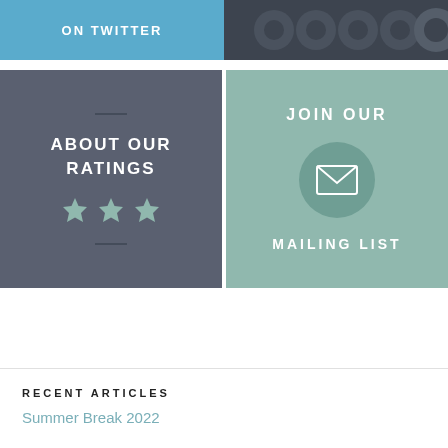[Figure (infographic): Blue box with 'ON TWITTER' text in white uppercase letters]
[Figure (infographic): Dark grey box with social media circle icons pattern]
[Figure (infographic): Dark grey-blue box with 'ABOUT OUR RATINGS' text and three teal stars]
[Figure (infographic): Muted teal/sage green box with 'JOIN OUR MAILING LIST' text and envelope icon in circle]
RECENT ARTICLES
Summer Break 2022